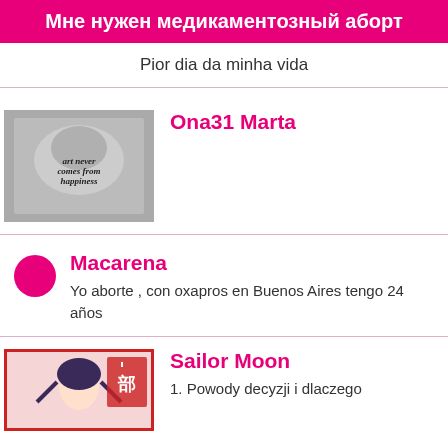Мне нужен медикаментозный аборт
Pior dia da minha vida
Ona31 Marta
[Figure (photo): Black and white photo of a tattoo on an arm reading: art never comes from happiness]
Macarena
Yo aborte , con oxapros en Buenos Aires tengo 24 años
Sailor Moon
1. Powody decyzji i dlaczego
[Figure (illustration): Anime/manga style illustration of a character with dark hair, with Japanese text and red border elements]